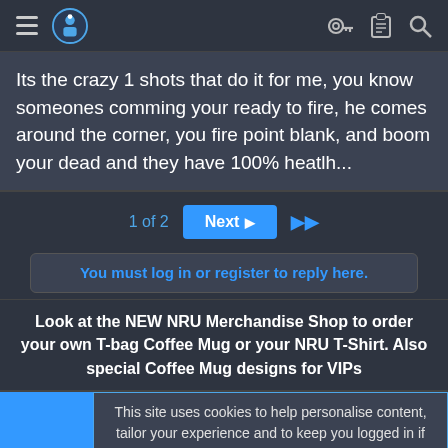NRU site header with hamburger menu, logo, key icon, clipboard icon, search icon
Its the crazy 1 shots that do it for me, you know someones comming your ready to fire, he comes around the corner, you fire point blank, and boom your dead and they have 100% heatlh...
1 of 2   Next ▶   ▶▶
You must log in or register to reply here.
Look at the NEW NRU Merchandise Shop to order your own T-bag Coffee Mug or your NRU T-Shirt. Also special Coffee Mug designs for VIPs
This site uses cookies to help personalise content, tailor your experience and to keep you logged in if you register. By continuing to use this site, you are consenting to our use of cookies.
✓ Accept   Learn more...